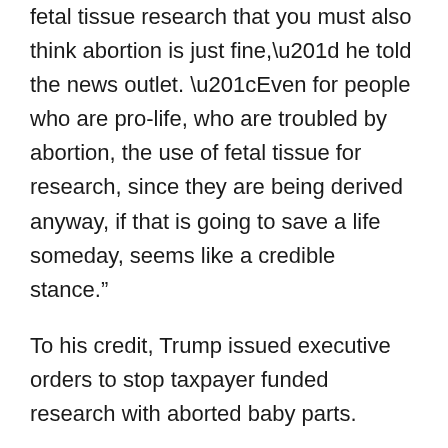fetal tissue research that you must also think abortion is just fine,” he told the news outlet. “Even for people who are pro-life, who are troubled by abortion, the use of fetal tissue for research, since they are being derived anyway, if that is going to save a life someday, seems like a credible stance.”
To his credit, Trump issued executive orders to stop taxpayer funded research with aborted baby parts.
The Trump administration began to crack down on these grants in response to pro-lifers’ concerns. It canceled several contracts, including one involving “humanized mice,” and took other steps to stop funding unethical research, including through the formation of the new advisory board